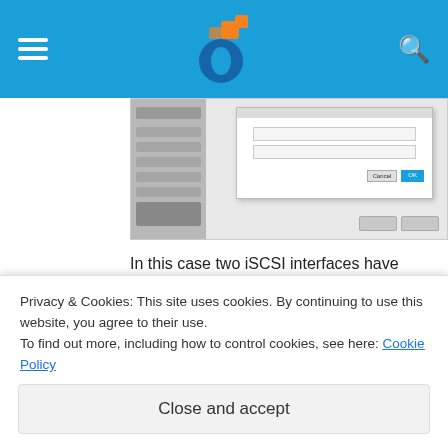Navigation header with hamburger menu, logo, and search icon
[Figure (screenshot): Screenshot of a web UI dialog box with a cancel and OK button, overlapping a content panel with a sidebar]
In this case two iSCSI interfaces have been created to provide redundancy when accessing the Unity Storage. Of course these network interfaces will be connected to separate physical switches.
[Figure (screenshot): Screenshot of a web browser showing a URL bar with an address, on a dark browser chrome]
Privacy & Cookies: This site uses cookies. By continuing to use this website, you agree to their use.
To find out more, including how to control cookies, see here: Cookie Policy
Close and accept